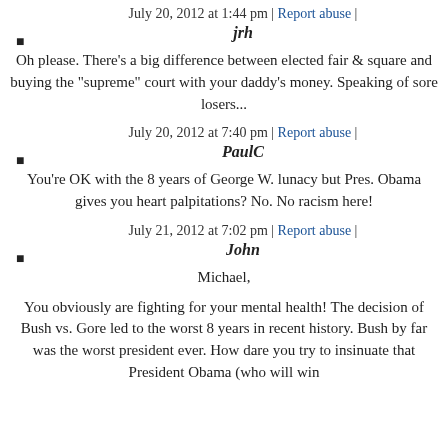July 20, 2012 at 1:44 pm | Report abuse | jrh
Oh please. There's a big difference between elected fair & square and buying the "supreme" court with your daddy's money. Speaking of sore losers...
July 20, 2012 at 7:40 pm | Report abuse | PaulC
You're OK with the 8 years of George W. lunacy but Pres. Obama gives you heart palpitations? No. No racism here!
July 21, 2012 at 7:02 pm | Report abuse | John
Michael,
You obviously are fighting for your mental health! The decision of Bush vs. Gore led to the worst 8 years in recent history. Bush by far was the worst president ever. How dare you try to insinuate that President Obama (who will win